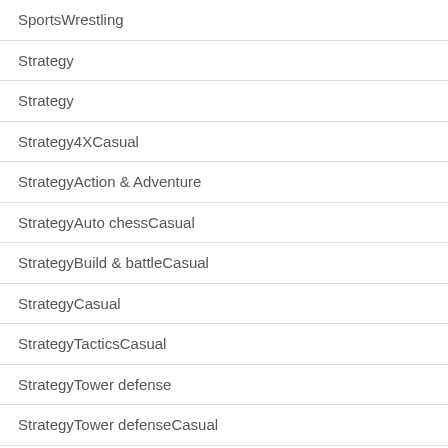| SportsWrestling |
| Strategy |
| Strategy |
| Strategy4XCasual |
| StrategyAction & Adventure |
| StrategyAuto chessCasual |
| StrategyBuild & battleCasual |
| StrategyCasual |
| StrategyTacticsCasual |
| StrategyTower defense |
| StrategyTower defenseCasual |
| StrategyWargame |
| StrategyWargameCasual |